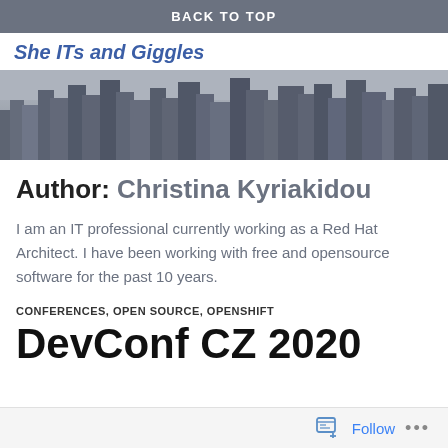BACK TO TOP
She ITs and Giggles
[Figure (photo): Black and white skyline photo of a city with tall skyscrapers]
Author: Christina Kyriakidou
I am an IT professional currently working as a Red Hat Architect. I have been working with free and opensource software for the past 10 years.
CONFERENCES, OPEN SOURCE, OPENSHIFT
DevConf CZ 2020
Follow